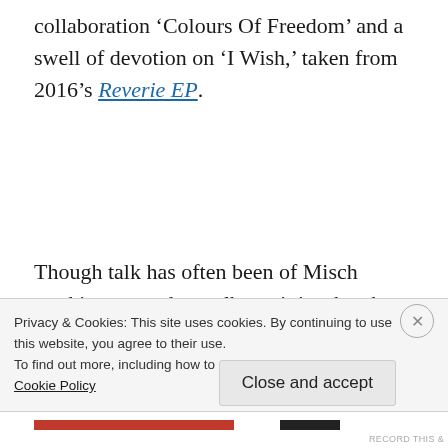collaboration 'Colours Of Freedom' and a swell of devotion on 'I Wish,' taken from 2016's Reverie EP.
Though talk has often been of Misch working towards an album, it is when he chooses to make an EP by locking himself in a studio for a
Privacy & Cookies: This site uses cookies. By continuing to use this website, you agree to their use.
To find out more, including how to control cookies, see here:
Cookie Policy
Close and accept